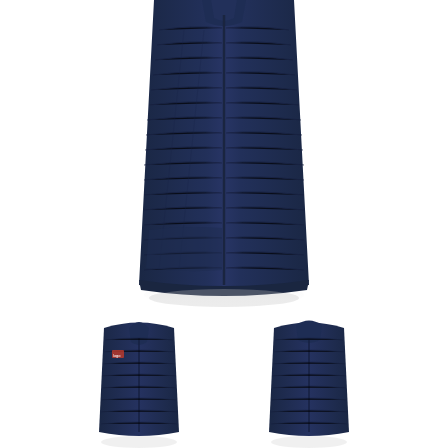[Figure (photo): Main product photo: navy blue quilted sleeveless vest/gillet, front view, partial crop showing upper body portion with quilted pattern and small collar. Shadow beneath product on white background.]
[Figure (photo): Two thumbnail product photos side by side: left thumbnail shows front view of navy blue quilted gillet with small logo on chest; right thumbnail shows back view of the same navy blue quilted gillet. Both have subtle drop shadows.]
Jet Action 2019/2020 Gillet
£42.95
Size